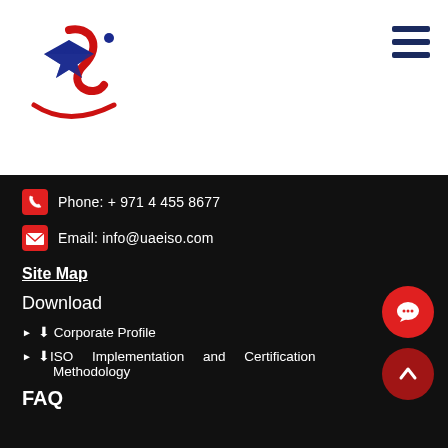[Figure (logo): UAE ISO company logo with star and S-shaped figure in red and blue]
Phone: + 971 4 455 8677
Email: info@uaeiso.com
Site Map
Download
Corporate Profile
ISO Implementation and Certification Methodology
FAQ